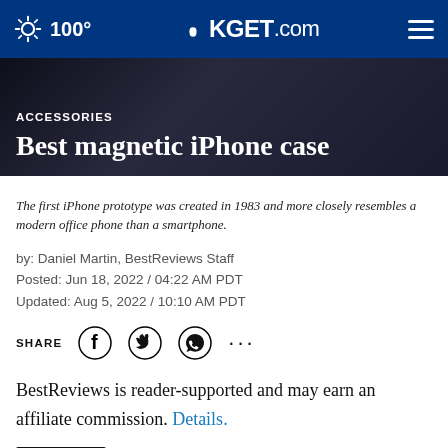100° KGET.com
ACCESSORIES
Best magnetic iPhone case
The first iPhone prototype was created in 1983 and more closely resembles a modern office phone than a smartphone.
by: Daniel Martin, BestReviews Staff
Posted: Jun 18, 2022 / 04:22 AM PDT
Updated: Aug 5, 2022 / 10:10 AM PDT
SHARE
BestReviews is reader-supported and may earn an affiliate commission. Details.